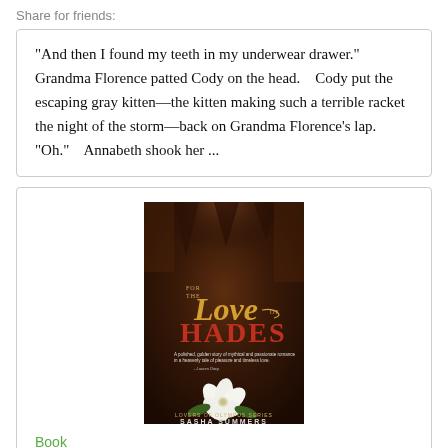Share for friends:
"And then I found my teeth in my underwear drawer." Grandma Florence patted Cody on the head.    Cody put the escaping gray kitten—the kitten making such a terrible racket the night of the storm—back on Grandma Florence's lap. "Oh."    Annabeth shook her ...
[Figure (photo): Book cover of 'For the Love of Hades' by Sasha Summers. Dark cave background with golden script title text, red HADES lettering, a white flower at the bottom, and subtitle 'Lovers of Olympus Series'.]
Book